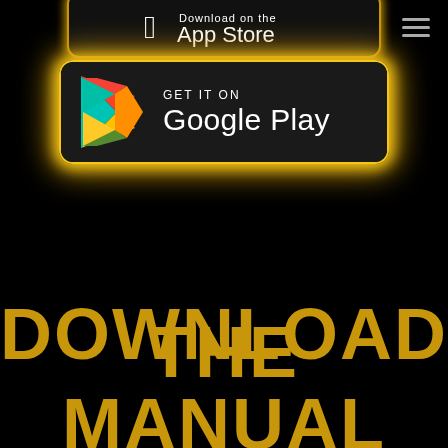[Figure (logo): Apple App Store button partially visible at top, with golden/yellow neon border glow]
[Figure (logo): Google Play Store badge with yellow neon border glow, showing triangular Play logo in multicolor and text GET IT ON / Google Play on dark background]
DOWNLOAD
THE MANUAL